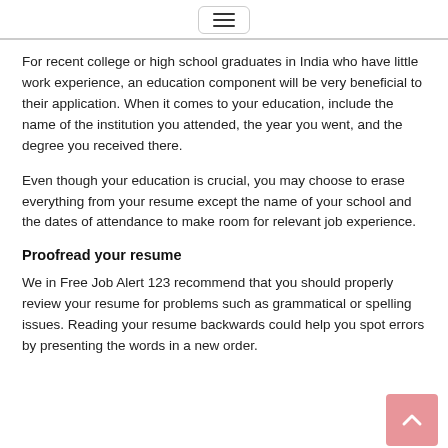☰
For recent college or high school graduates in India who have little work experience, an education component will be very beneficial to their application. When it comes to your education, include the name of the institution you attended, the year you went, and the degree you received there.
Even though your education is crucial, you may choose to erase everything from your resume except the name of your school and the dates of attendance to make room for relevant job experience.
Proofread your resume
We in Free Job Alert 123 recommend that you should properly review your resume for problems such as grammatical or spelling issues. Reading your resume backwards could help you spot errors by presenting the words in a new order.